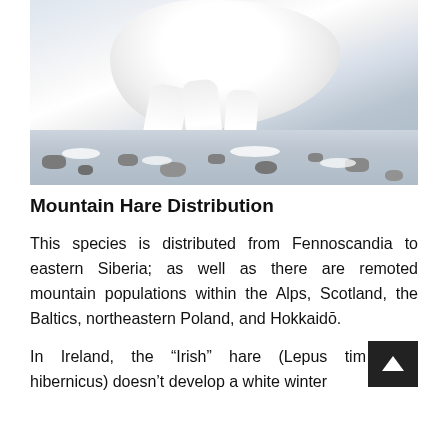[Figure (photo): Close-up photograph of a white mountain hare (in winter coat) running or hopping on a rocky, snowy ground. The hare is white with visible legs and paws. The background shows a rocky terrain with snow patches.]
Mountain Hare Distribution
This species is distributed from Fennoscandia to eastern Siberia; as well as there are remoted mountain populations within the Alps, Scotland, the Baltics, northeastern Poland, and Hokkaidō.
In Ireland, the “Irish” hare (Lepus timidus hibernicus) doesn’t develop a white winter